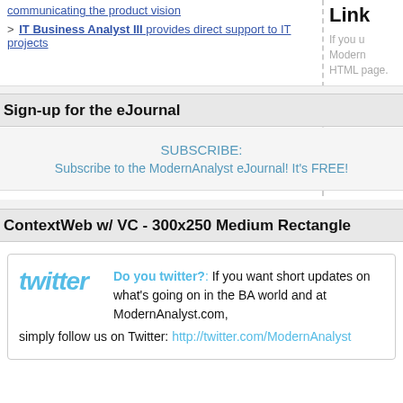communicating the product vision
IT Business Analyst III provides direct support to IT projects
Sign-up for the eJournal
SUBSCRIBE: Subscribe to the ModernAnalyst eJournal! It's FREE!
ContextWeb w/ VC - 300x250 Medium Rectangle
Do you twitter?: If you want short updates on what's going on in the BA world and at ModernAnalyst.com, simply follow us on Twitter: http://twitter.com/ModernAnalyst